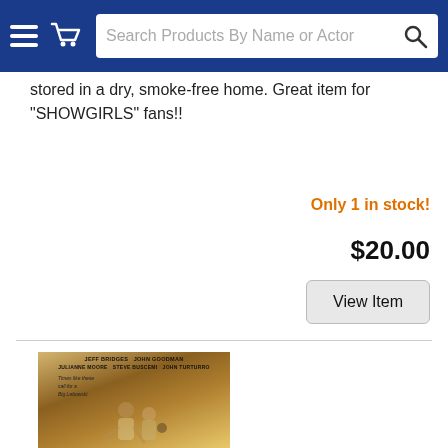Search Products By Name or Actor
stored in a dry, smoke-free home. Great item for "SHOWGIRLS" fans!!
Only 1 in stock!
$20.00
View Item
[Figure (photo): Movie poster for The Big Lebowski featuring Jeff Bridges, John Goodman, Julianne Moore, Steve Buscemi, John Turturro with tagline 'Times like these call for a Big Lebowski']